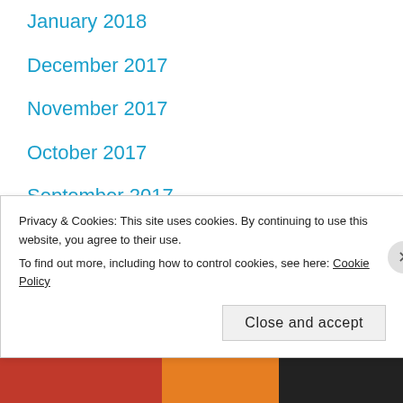January 2018
December 2017
November 2017
October 2017
September 2017
August 2017
July 2017
June 2017
May 2017
April 2017
Privacy & Cookies: This site uses cookies. By continuing to use this website, you agree to their use.
To find out more, including how to control cookies, see here: Cookie Policy
[Figure (screenshot): Bottom strip with orange/red/dark color blocks, partially visible image]